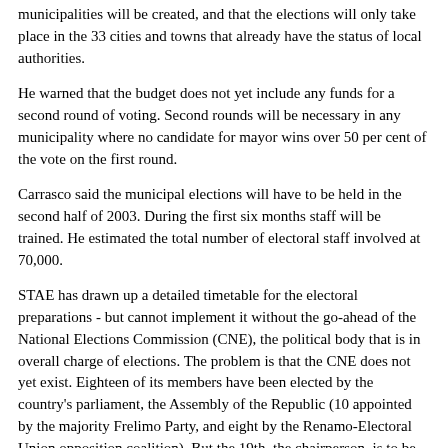municipalities will be created, and that the elections will only take place in the 33 cities and towns that already have the status of local authorities.
He warned that the budget does not yet include any funds for a second round of voting. Second rounds will be necessary in any municipality where no candidate for mayor wins over 50 per cent of the vote on the first round.
Carrasco said the municipal elections will have to be held in the second half of 2003. During the first six months staff will be trained. He estimated the total number of electoral staff involved at 70,000.
STAE has drawn up a detailed timetable for the electoral preparations - but cannot implement it without the go-ahead of the National Elections Commission (CNE), the political body that is in overall charge of elections. The problem is that the CNE does not yet exist. Eighteen of its members have been elected by the country's parliament, the Assembly of the Republic (10 appointed by the majority Frelimo Party, and eight by the Renamo-Electoral Union opposition coalition). But the 19th, the chairperson, is to be an independent figure chosen by civil society.
S...